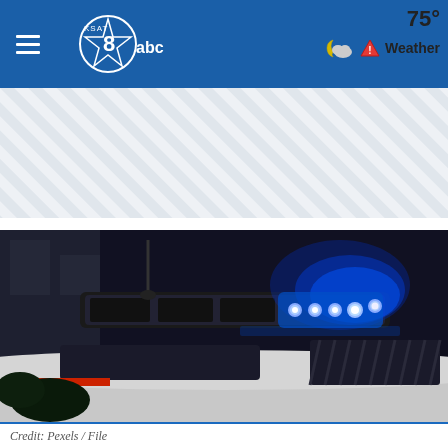KSAT 8 abc — 75° Weather
[Figure (other): Ad banner with diagonal stripe pattern]
[Figure (photo): Close-up of a police car roof with blue emergency lights flashing at night. The light bar is illuminated with bright blue LED lights on the right side. The car is white/silver and photographed from behind.]
Credit: Pexels / File